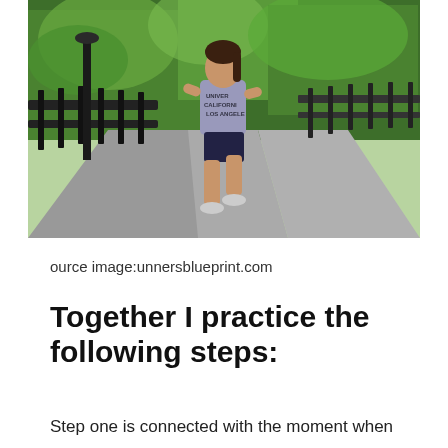[Figure (photo): A woman in a gray UCLA t-shirt and black shorts running along a paved path with black iron railings on both sides, green trees in the background.]
ource image:unnersblueprint.com
Together I practice the following steps:
Step one is connected with the moment when